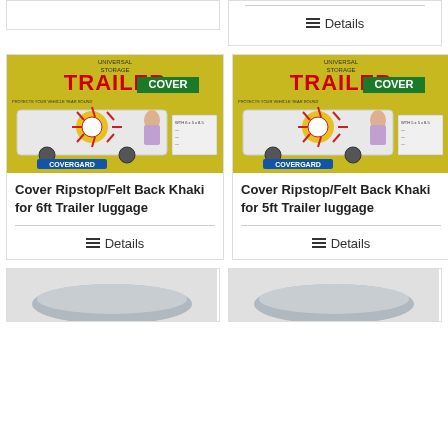[Figure (photo): Partial top-left product card, cut off at top]
[Figure (photo): Partial top-right product card with Details link visible]
Details
[Figure (photo): COVERGARD Universal Storage Trailer Cover product packaging image for 6ft trailer luggage]
Cover Ripstop/Felt Back Khaki for 6ft Trailer luggage
Details
[Figure (photo): COVERGARD Universal Storage Trailer Cover product packaging image for 5ft trailer luggage]
Cover Ripstop/Felt Back Khaki for 5ft Trailer luggage
Details
[Figure (photo): Partial bottom-left product card showing grey cover]
[Figure (photo): Partial bottom-right product card showing grey cover]